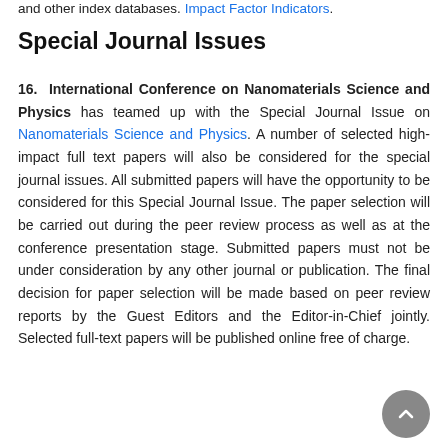and other index databases. Impact Factor Indicators.
Special Journal Issues
16. International Conference on Nanomaterials Science and Physics has teamed up with the Special Journal Issue on Nanomaterials Science and Physics. A number of selected high-impact full text papers will also be considered for the special journal issues. All submitted papers will have the opportunity to be considered for this Special Journal Issue. The paper selection will be carried out during the peer review process as well as at the conference presentation stage. Submitted papers must not be under consideration by any other journal or publication. The final decision for paper selection will be made based on peer review reports by the Guest Editors and the Editor-in-Chief jointly. Selected full-text papers will be published online free of charge.